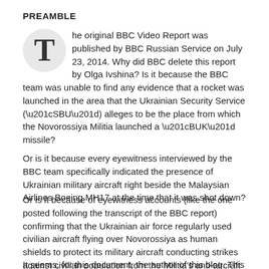PREAMBLE
The original BBC Video Report was published by BBC Russian Service on July 23, 2014. Why did BBC delete this report by Olga Ivshina? Is it because the BBC team was unable to find any evidence that a rocket was launched in the area that the Ukrainian Security Service (“SBU”) alleges to be the place from which the Novorossiya Militia launched a “BUK” missile?
Or is it because every eyewitness interviewed by the BBC team specifically indicated the presence of Ukrainian military aircraft right beside the Malaysian Airlines Boeing MH17 at the time that it was shot down?
Or is it because of eyewitness accounts (like the one posted following the transcript of the BBC report) confirming that the Ukrainian air force regularly used civilian aircraft flying over Novorossiya as human shields to protect its military aircraft conducting strikes against civilian population from the Militia’s anti-aircraft units?
It seems, for this document, the author of this blog. This